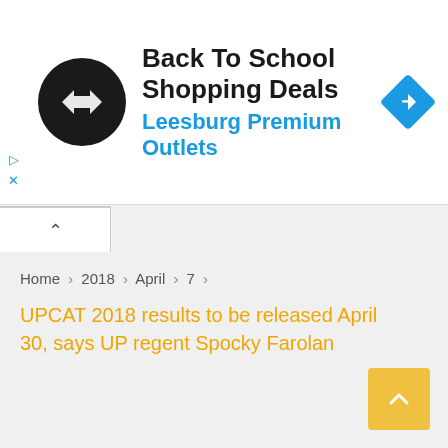[Figure (screenshot): Advertisement banner for Back To School Shopping Deals at Leesburg Premium Outlets, showing a circular dark logo with double arrow icon on the left, text in the center, and a blue diamond navigation icon on the right]
Home › 2018 › April › 7 ›
UPCAT 2018 results to be released April 30, says UP regent Spocky Farolan